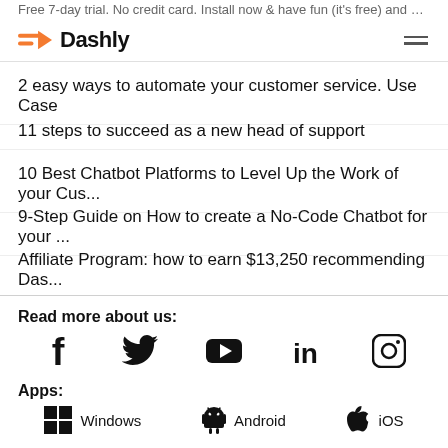Dashly (logo with navigation)
2 easy ways to automate your customer service. Use Case
11 steps to succeed as a new head of support
10 Best Chatbot Platforms to Level Up the Work of your Cus...
9-Step Guide on How to create a No-Code Chatbot for your ...
Affiliate Program: how to earn $13,250 recommending Das...
Read more about us:
[Figure (infographic): Social media icons: Facebook, Twitter, YouTube, LinkedIn, Instagram]
Apps:
[Figure (infographic): App platform icons: Windows, Android, iOS]